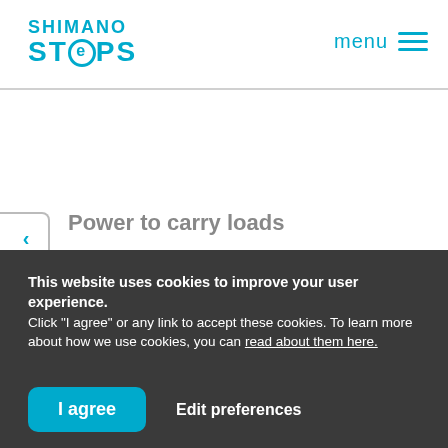SHIMANO STEPS | menu
Power to carry loads
With an e-cargo bike, panniers or a basket you
This website uses cookies to improve your user experience.
Click "I agree" or any link to accept these cookies. To learn more about how we use cookies, you can read about them here.
I agree | Edit preferences